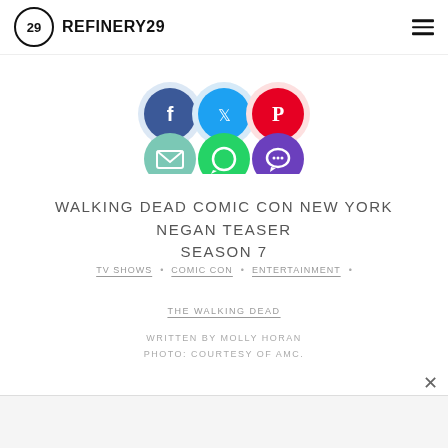REFINERY29
[Figure (infographic): Row of social sharing icon buttons: Facebook (blue circle), Twitter (light blue circle), Pinterest (red circle), Email (teal circle with envelope), WhatsApp (green circle), and a purple chat/comment circle]
WALKING DEAD COMIC CON NEW YORK NEGAN TEASER SEASON 7
TV SHOWS • COMIC CON • ENTERTAINMENT •
THE WALKING DEAD
WRITTEN BY MOLLY HORAN
PHOTO: COURTESY OF AMC.